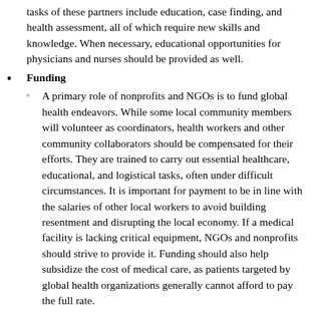tasks of these partners include education, case finding, and health assessment, all of which require new skills and knowledge. When necessary, educational opportunities for physicians and nurses should be provided as well.
Funding
A primary role of nonprofits and NGOs is to fund global health endeavors. While some local community members will volunteer as coordinators, health workers and other community collaborators should be compensated for their efforts. They are trained to carry out essential healthcare, educational, and logistical tasks, often under difficult circumstances. It is important for payment to be in line with the salaries of other local workers to avoid building resentment and disrupting the local economy. If a medical facility is lacking critical equipment, NGOs and nonprofits should strive to provide it. Funding should also help subsidize the cost of medical care, as patients targeted by global health organizations generally cannot afford to pay the full rate.
Monitoring
To ensure effectiveness and progress, all aspects of